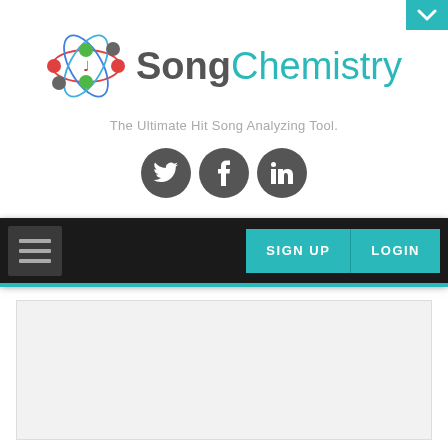[Figure (logo): SongChemistry logo with atomic/molecular graphic and brand name 'SongChemistry']
The Ultimate Hit Song Analyzing Tool.
[Figure (infographic): Three circular social media icons: Twitter (bird), Facebook (f), LinkedIn (in)]
[Figure (screenshot): Navigation bar with hamburger menu on the left and SIGN UP / LOGIN buttons on the right, on dark background with teal bottom border]
[Figure (screenshot): Light gray content area placeholder below navigation]